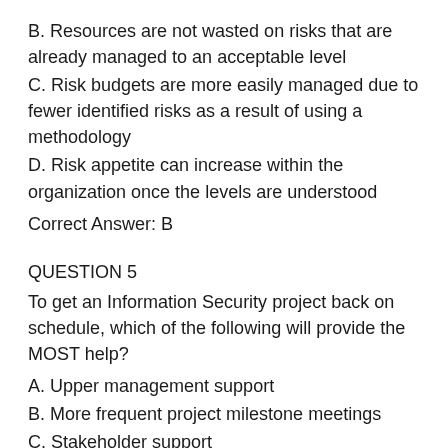B. Resources are not wasted on risks that are already managed to an acceptable level
C. Risk budgets are more easily managed due to fewer identified risks as a result of using a methodology
D. Risk appetite can increase within the organization once the levels are understood
Correct Answer: B
QUESTION 5
To get an Information Security project back on schedule, which of the following will provide the MOST help?
A. Upper management support
B. More frequent project milestone meetings
C. Stakeholder support
D. Extended deadlines